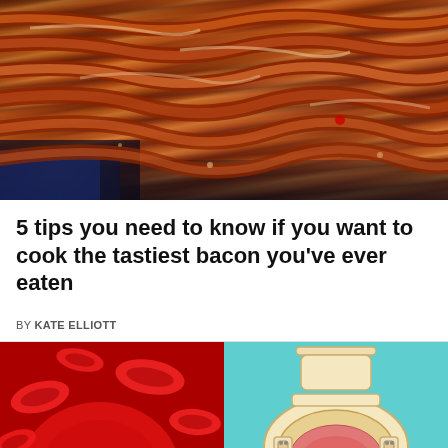[Figure (photo): Close-up photo of strips of bacon cooking on a grill/pan, showing crispy sizzling bacon with a dark pan visible at the bottom left]
5 tips you need to know if you want to cook the tastiest bacon you've ever eaten
BY KATE ELLIOTT
[Figure (photo): Left: close-up illustration/photo of red blood cells in the bloodstream. Right: cartoon illustration of a toilet bowl viewed from above with a pink/red bowl interior and cartoon face characters on the seat bolts, against a teal background]
© Cooktop Cove   About Ads   Terms   Privacy   Do Not Sell My Info